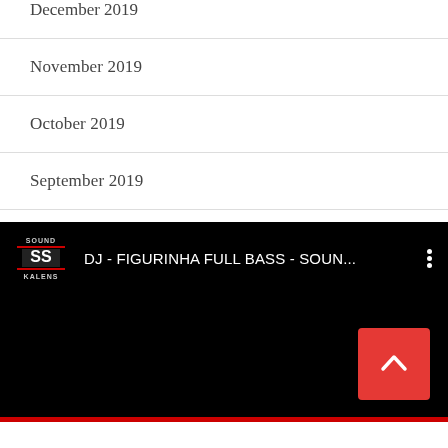December 2019
November 2019
October 2019
September 2019
[Figure (screenshot): YouTube video embed showing 'DJ - FIGURINHA FULL BASS - SOUN...' with Sound Kalens logo, black background, and a red back-to-top button in the bottom right corner.]